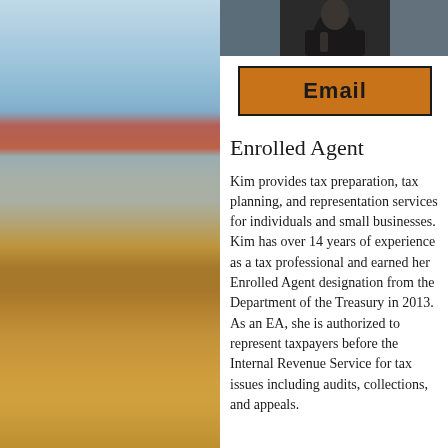[Figure (photo): Portrait photo of a person in dark clothing, cropped at top of card]
Email
Enrolled Agent
Kim provides tax preparation, tax planning, and representation services for individuals and small businesses.  Kim has over 14 years of experience as a tax professional and earned her Enrolled Agent designation from the Department of the Treasury in 2013.  As an EA, she is authorized to represent taxpayers before the Internal Revenue Service for tax issues including audits, collections, and appeals.